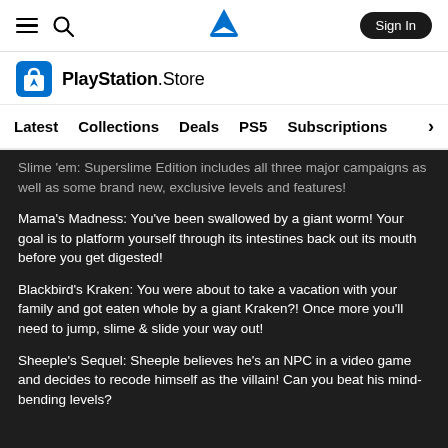PlayStation Store navigation — hamburger menu, search, PlayStation logo, Sign In button
[Figure (logo): PlayStation Store logo with shopping bag icon and 'PlayStation.Store' text]
Latest   Collections   Deals   PS5   Subscriptions >
Slime 'em: Superslime Edition includes all three major campaigns as well as some brand new, exclusive levels and features!
Mama's Madness: You've been swallowed by a giant worm! Your goal is to platform yourself through its intestines back out its mouth before you get digested!
Blackbird's Kraken: You were about to take a vacation with your family and got eaten whole by a giant Kraken?! Once more you'll need to jump, slime & slide your way out!
Sheeple's Sequel: Sheeple believes he's an NPC in a video game and decides to recode himself as the villain! Can you beat his mind-bending levels?